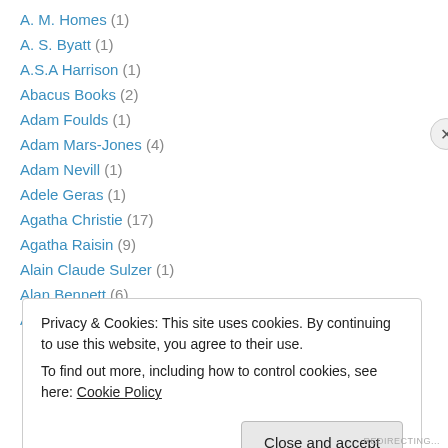A. M. Homes (1)
A. S. Byatt (1)
A.S.A Harrison (1)
Abacus Books (2)
Adam Foulds (1)
Adam Mars-Jones (4)
Adam Nevill (1)
Adele Geras (1)
Agatha Christie (17)
Agatha Raisin (9)
Alain Claude Sulzer (1)
Alan Bennett (6)
Alan Bradley (6)
Privacy & Cookies: This site uses cookies. By continuing to use this website, you agree to their use. To find out more, including how to control cookies, see here: Cookie Policy
REDIRECTING...